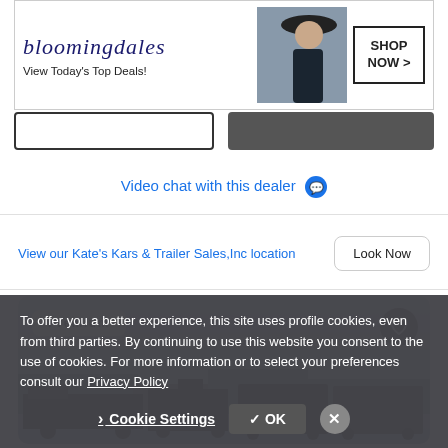[Figure (screenshot): Bloomingdales advertisement banner: logo text 'bloomingdales', subtext 'View Today's Top Deals!', woman in hat photo, 'SHOP NOW >' button]
Video chat with this dealer 💬
View our Kate's Kars & Trailer Sales,Inc location
Look Now
[Figure (photo): Trailer dealership lot showing multiple trailers and equipment including gooseneck trailers and enclosed trailers, with a 'Premium' badge in upper left and a heart/favorite button in upper right]
To offer you a better experience, this site uses profile cookies, even from third parties. By continuing to use this website you consent to the use of cookies. For more information or to select your preferences consult our Privacy Policy
Cookie Settings
✓ OK